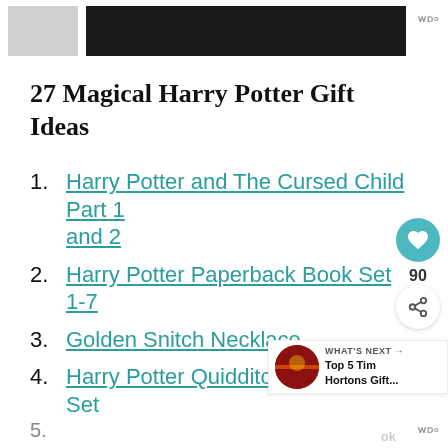[Figure (screenshot): Top navigation banner with gray and black blocks, website logo marks top right]
27 Magical Harry Potter Gift Ideas
1. Harry Potter and The Cursed Child Part 1 and 2
2. Harry Potter Paperback Book Set 1-7
3. Golden Snitch Necklace
4. Harry Potter Quidditch Collectible Set
5.
[Figure (screenshot): What's Next widget showing Tim Hortons Gift... with thumbnail image]
ok